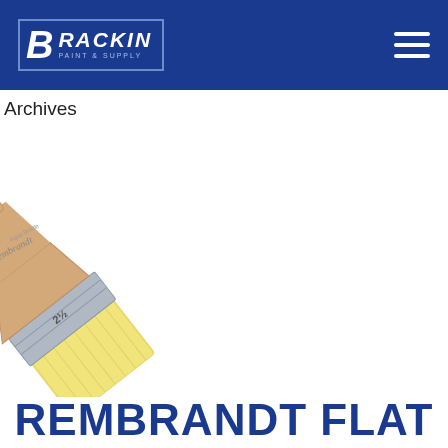BRACKIN PAINT & SUPPLY
Archives
[Figure (photo): A Rembrandt flat paint brush with a light wood handle, silver ferrule, and yellow synthetic bristles, shown at an angle on a white background.]
REMBRANDT FLAT